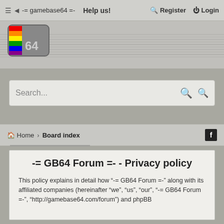≡ ( -= gamebase64 =- Help us! Register Login
[Figure (logo): GameBase64 logo with rainbow color bar and '64' text on grey background with horizontal stripe lines]
Search...
Home > Board index
-= GB64 Forum =- - Privacy policy
This policy explains in detail how "-= GB64 Forum =-" along with its affiliated companies (hereinafter "we", "us", "our", "-= GB64 Forum =-", "http://gamebase64.com/forum") and phpBB